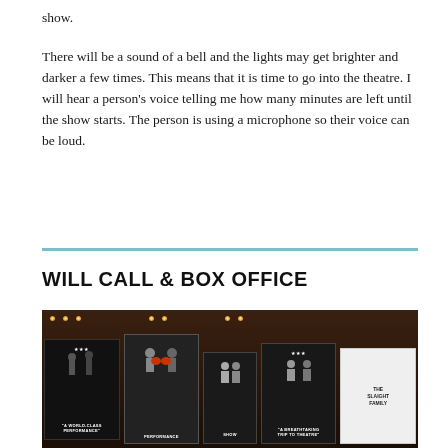show.
There will be a sound of a bell and the lights may get brighter and darker a few times. This means that it is time to go into the theatre. I will hear a person's voice telling me how many minutes are left until the show starts. The person is using a microphone so their voice can be loud.
WILL CALL & BOX OFFICE
[Figure (photo): Photograph of a box office or lobby area with multiple framed show posters/display screens mounted on a dark wall, including images from productions and a 'The Slaight Family' sponsor panel.]